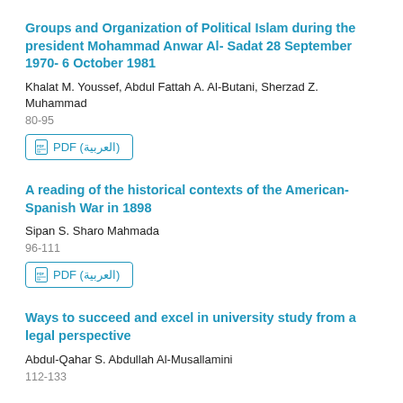Groups and Organization of Political Islam during the president Mohammad Anwar Al- Sadat 28 September 1970- 6 October 1981
Khalat M. Youssef, Abdul Fattah A. Al-Butani, Sherzad Z. Muhammad
80-95
PDF (العربية)
A reading of the historical contexts of the American-Spanish War in 1898
Sipan S. Sharo Mahmada
96-111
PDF (العربية)
Ways to succeed and excel in university study from a legal perspective
Abdul-Qahar S. Abdullah Al-Musallamini
112-133